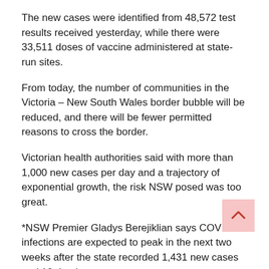The new cases were identified from 48,572 test results received yesterday, while there were 33,511 doses of vaccine administered at state-run sites.
From today, the number of communities in the Victoria – New South Wales border bubble will be reduced, and there will be fewer permitted reasons to cross the border.
Victorian health authorities said with more than 1,000 new cases per day and a trajectory of exponential growth, the risk NSW posed was too great.
*NSW Premier Gladys Berejiklian says COVID-19 infections are expected to peak in the next two weeks after the state recorded 1,431 new cases and 12 deaths.
Friday's numbers were the highest daily infection figures ever recorded by an Australian jurisdiction in a day.
“The next fortnight is likely to be our worst in terms of the